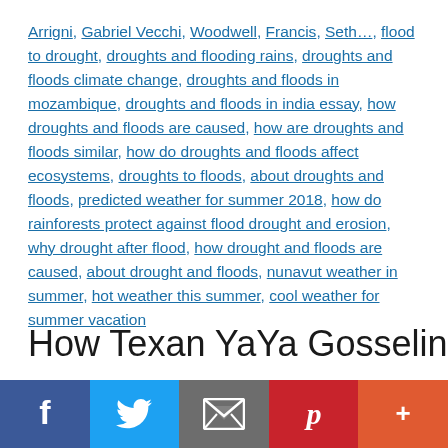Arrigni, Gabriel Vecchi, Woodwell, Francis, Seth..., flood to drought, droughts and flooding rains, droughts and floods climate change, droughts and floods in mozambique, droughts and floods in india essay, how droughts and floods are caused, how are droughts and floods similar, how do droughts and floods affect ecosystems, droughts to floods, about droughts and floods, predicted weather for summer 2018, how do rainforests protect against flood drought and erosion, why drought after flood, how drought and floods are caused, about drought and floods, nunavut weather in summer, hot weather this summer, cool weather for summer vacation
How Texan YaYa Gosselin
Facebook, Twitter, Email, Pinterest, More